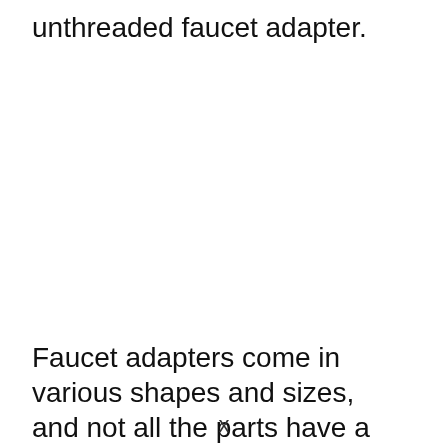unthreaded faucet adapter.
Faucet adapters come in various shapes and sizes, and not all the parts have a u... t... it... Th... t...
x